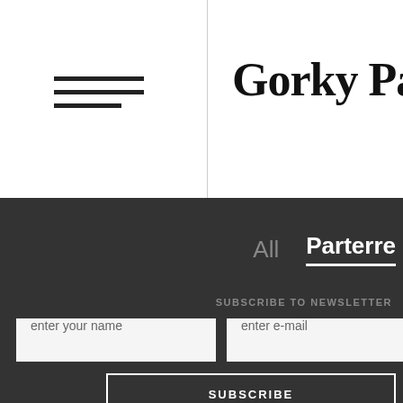[Figure (other): Hamburger menu icon with three horizontal lines]
Gorky Park
All   Parterre
SUBSCRIBE TO NEWSLETTER
enter your name
enter e-mail
SUBSCRIBE